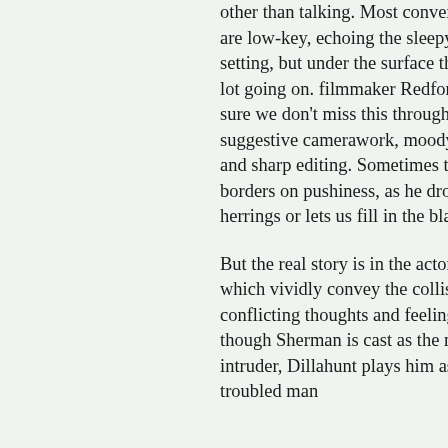other than talking. Most conversations are low-key, echoing the sleepy local setting, but under the surface there's a lot going on. filmmaker Redford makes sure we don't miss this through suggestive camerawork, moody music and sharp editing. Sometimes this borders on pushiness, as he drops in red herrings or lets us fill in the blanks.

But the real story is in the actors' eyes, which vividly convey the collision of conflicting thoughts and feelings. Even though Sherman is cast as the menacing intruder, Dillahunt plays him as a troubled man